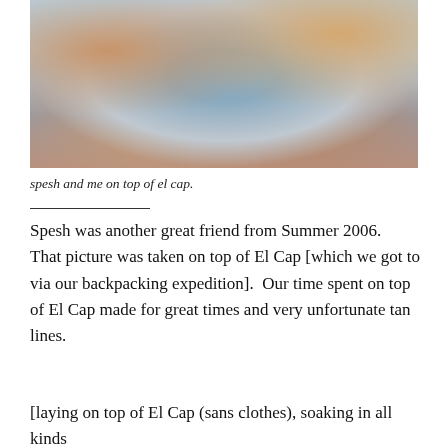[Figure (photo): Two people photographed from below against a blue sky and mountain backdrop, likely on top of El Capitan in Yosemite. The image shows the subjects from chin/neck downward looking down at the camera.]
spesh and me on top of el cap.
Spesh was another great friend from Summer 2006.  That picture was taken on top of El Cap [which we got to via our backpacking expedition].  Our time spent on top of El Cap made for great times and very unfortunate tan lines.
[laying on top of El Cap (sans clothes), soaking in all kinds